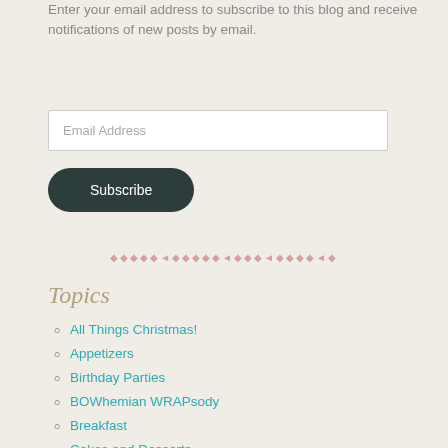Enter your email address to subscribe to this blog and receive notifications of new posts by email.
[Figure (screenshot): Email Address input field (text box)]
[Figure (screenshot): Subscribe button with dark rounded background]
[Figure (illustration): Decorative diamond divider in pink]
Topics
All Things Christmas!
Appetizers
Birthday Parties
BOWhemian WRAPsody
Breakfast
Cakes and Desserts
Cookies & Dainties
DIY and Upcycling
Family